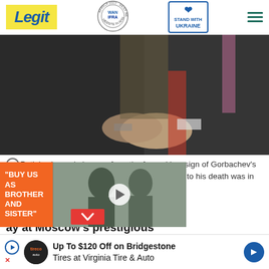Legit | WAN IFRA 2021 Best News Website In Africa | Stand With Ukraine
[Figure (photo): Two men in dark suits shaking hands, close-up handshake photo]
Putin's planned absence from the funeral is a sign of Gorbachev's controversial legacy in Russia, where the reaction to his death was in stark
ASTAKHOV / POOL/AFP/File
[Figure (other): Video overlay with orange box text 'BUY US AS BROTHER AND SISTER' and a video thumbnail with play button, and a red chevron down button]
ay at Moscow's prestigious wife Raisa, who died
Up To $120 Off on Bridgestone Tires at Virginia Tire & Auto